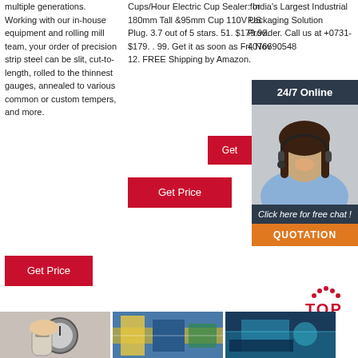multiple generations. Working with our in-house equipment and rolling mill team, your order of precision strip steel can be slit, cut-to-length, rolled to the thinnest gauges, annealed to various common or custom tempers, and more.
Cups/Hour Electric Cup Sealer for 180mm Tall &95mm Cup 110V US Plug. 3.7 out of 5 stars. 51. $179.99. $179. . 99. Get it as soon as Fri, Nov 12. FREE Shipping by Amazon.
: India's Largest Industrial Packaging Solution Provider. Call us at +0731-4076690548
[Figure (infographic): 24/7 Online chat widget with customer service representative photo, 'Click here for free chat!' text, and QUOTATION button]
Get Price
Get Price
Get
[Figure (infographic): TOP icon with red dots above the letters]
[Figure (photo): Hand holding a gauge measuring tool on white surface]
[Figure (photo): Industrial packaging machinery with yellow and blue components]
[Figure (photo): Industrial equipment with blue and teal coloring]